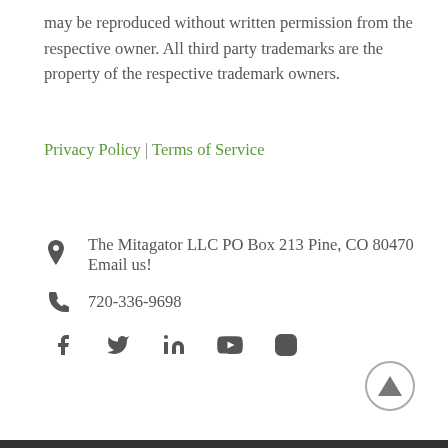may be reproduced without written permission from the respective owner. All third party trademarks are the property of the respective trademark owners.
Privacy Policy | Terms of Service
The Mitagator LLC PO Box 213 Pine, CO 80470 Email us!
720-336-9698
[Figure (infographic): Social media icons row: Facebook, Twitter, LinkedIn, YouTube, Instagram]
[Figure (illustration): Back to top button: circle with upward triangle arrow]